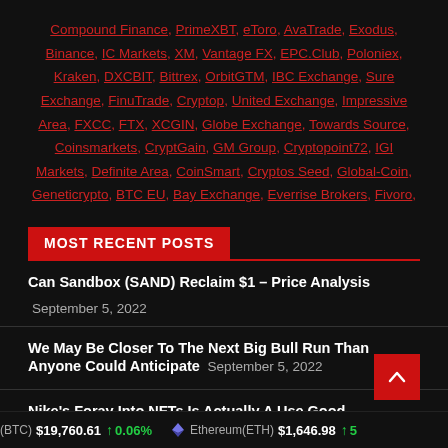Compound Finance, PrimeXBT, eToro, AvaTrade, Exodus, Binance, IC Markets, XM, Vantage FX, EPC.Club, Poloniex, Kraken, DXCBIT, Bittrex, OrbitGTM, IBC Exchange, Sure Exchange, FinuTrade, Cryptop, United Exchange, Impressive Area, FXCC, FTX, XCGIN, Globe Exchange, Towards Source, Coinsmarkets, CryptGain, GM Group, Cryptopoint72, IGI Markets, Definite Area, CoinSmart, Cryptos Seed, Global-Coin, Geneticrypto, BTC EU, Bay Exchange, Everrise Brokers, Fivoro,
MOST RECENT POSTS
Can Sandbox (SAND) Reclaim $1 – Price Analysis
September 5, 2022
We May Be Closer To The Next Big Bull Run Than Anyone Could Anticipate
September 5, 2022
Nike's Foray Into NFTs Is Actually A Use Good…
Bitcoin(BTC) $19,760.61 ↑ 0.06% Ethereum(ETH) $1,646.98 ↑